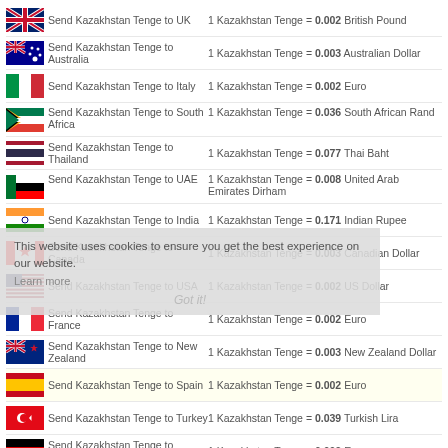Send Kazakhstan Tenge to UK — 1 Kazakhstan Tenge = 0.002 British Pound
Send Kazakhstan Tenge to Australia — 1 Kazakhstan Tenge = 0.003 Australian Dollar
Send Kazakhstan Tenge to Italy — 1 Kazakhstan Tenge = 0.002 Euro
Send Kazakhstan Tenge to South Africa — 1 Kazakhstan Tenge = 0.036 South African Rand
Send Kazakhstan Tenge to Thailand — 1 Kazakhstan Tenge = 0.077 Thai Baht
Send Kazakhstan Tenge to UAE — 1 Kazakhstan Tenge = 0.008 United Arab Emirates Dirham
Send Kazakhstan Tenge to India — 1 Kazakhstan Tenge = 0.171 Indian Rupee
Send Kazakhstan Tenge to Canada — 1 Kazakhstan Tenge = 0.003 Canadian Dollar
Send Kazakhstan Tenge to USA — 1 Kazakhstan Tenge = 0.002 US Dollar
Send Kazakhstan Tenge to France — 1 Kazakhstan Tenge = 0.002 Euro
Send Kazakhstan Tenge to New Zealand — 1 Kazakhstan Tenge = 0.003 New Zealand Dollar
Send Kazakhstan Tenge to Spain — 1 Kazakhstan Tenge = 0.002 Euro
Send Kazakhstan Tenge to Turkey — 1 Kazakhstan Tenge = 0.039 Turkish Lira
Send Kazakhstan Tenge to Germany — 1 Kazakhstan Tenge = 0.002 Euro